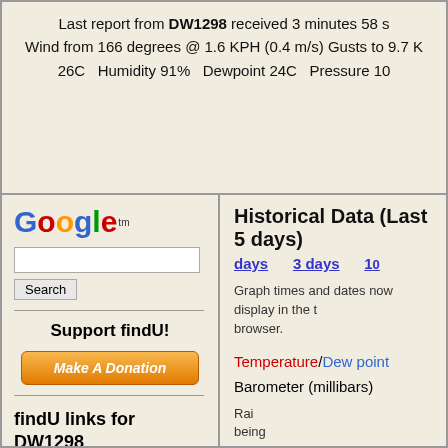Last report from DW1298 received 3 minutes 58 s Wind from 166 degrees @ 1.6 KPH (0.4 m/s) Gusts to 9.7 K 26C  Humidity 91%  Dewpoint 24C   Pressure 10
[Figure (logo): Google logo with trademark symbol]
Search button and search input field
Support findU!
Make A Donation button
findU links for DW1298
Historical Data (Last 5 days)
days   3 days   10
Graph times and dates now display in the t browser.
Temperature/Dew point
Barometer (millibars)
Rai being cum
Solar Illumina